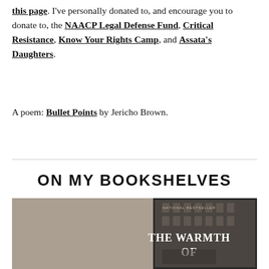this page. I've personally donated to, and encourage you to donate to, the NAACP Legal Defense Fund, Critical Resistance, Know Your Rights Camp, and Assata's Daughters.
A poem: Bullet Points by Jericho Brown.
ON MY BOOKSHELVES
[Figure (photo): Photo of a book titled 'The Warmth Of' (partial title visible) resting against a furry grey surface, with a black and white cover showing a building facade.]